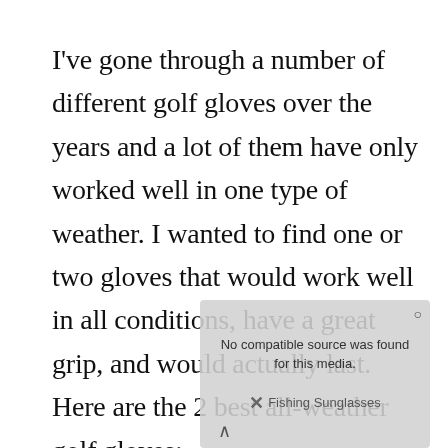I've gone through a number of different golf gloves over the years and a lot of them have only worked well in one type of weather. I wanted to find one or two gloves that would work well in all conditions, have a great grip, and would actually last. Here are the 2 best all-weather golf gloves:
[Figure (screenshot): Video player error overlay showing 'No compatible source was found for this media.' with a close button (×) and branding text '(X) Fishing Sunglasses']